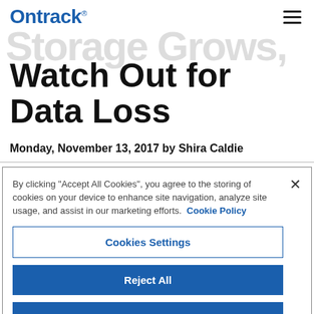Ontrack
Storage Grows, Watch Out for Data Loss
Monday, November 13, 2017 by Shira Caldie
By clicking "Accept All Cookies", you agree to the storing of cookies on your device to enhance site navigation, analyze site usage, and assist in our marketing efforts. Cookie Policy
Cookies Settings
Reject All